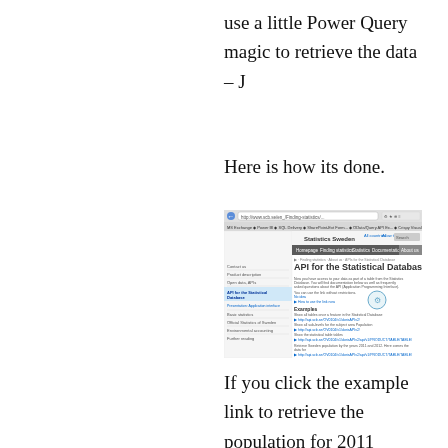use a little Power Query magic to retrieve the data – J
Here is how its done.
[Figure (screenshot): Screenshot of Statistics Sweden website showing the API for the Statistical Database page, with navigation menus, sidebar links, and example API URLs listed.]
If you click the example link to retrieve the population for 2011